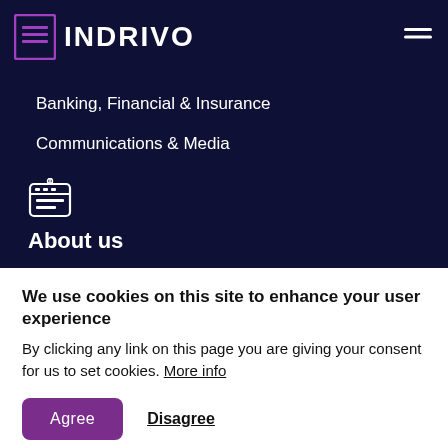[Figure (logo): Indrivo logo with purple icon and white text INDRIVO on dark navy background]
Banking, Financial & Insurance
Communications & Media
[Figure (illustration): Browser window icon in purple/white outline on dark navy background]
About us
Our Story
Our Te...
We use cookies on this site to enhance your user experience
By clicking any link on this page you are giving your consent for us to set cookies. More info
Agree
Disagree